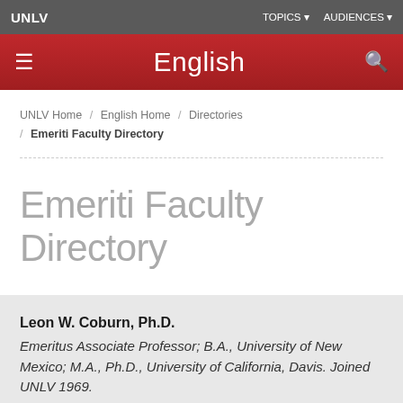UNLV | TOPICS ▼ AUDIENCES ▼
English
UNLV Home / English Home / Directories / Emeriti Faculty Directory
Emeriti Faculty Directory
Leon W. Coburn, Ph.D.
Emeritus Associate Professor; B.A., University of New Mexico; M.A., Ph.D., University of California, Davis. Joined UNLV 1969.